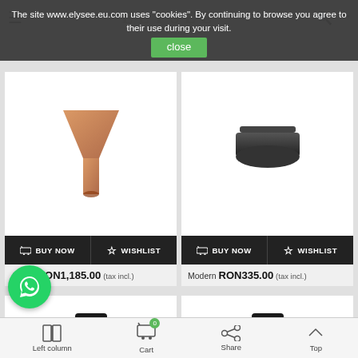The site www.elysee.eu.com uses "cookies". By continuing to browse you agree to their use during your visit.
close
[Figure (screenshot): Product card top-left: funnel-shaped amber/copper colored glass decanter product image]
🛒 BUY NOW  ☆ WISHLIST
Aesthe RON1,185.00 (tax incl.)
[Figure (screenshot): Product card top-right: dark grey/black low bowl-shaped product image]
🛒 BUY NOW  ☆ WISHLIST
Modern RON335.00 (tax incl.)
[Figure (screenshot): Product card bottom-left: black cylindrical canister with gold medallion logo (State of Mind)]
[Figure (screenshot): Product card bottom-right: black cylindrical canister with gold medallion logo (State of Mind)]
[Figure (logo): WhatsApp green circle button with phone handset icon]
Left column
Cart 0
Share
Top